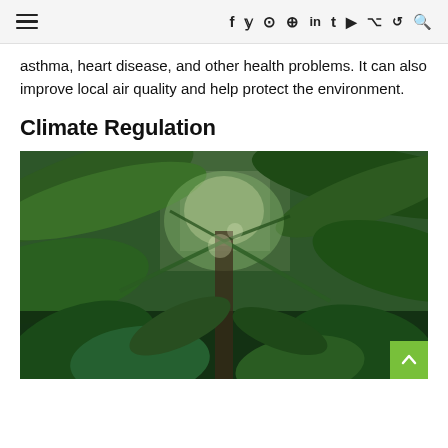≡  f y ⊙ ⊕ in t ▶ ⌥ ⊕ 🔍
asthma, heart disease, and other health problems. It can also improve local air quality and help protect the environment.
Climate Regulation
[Figure (photo): Dense tropical jungle foliage with large green leaves, palm fronds, and lush vegetation viewed from below looking up through the canopy]